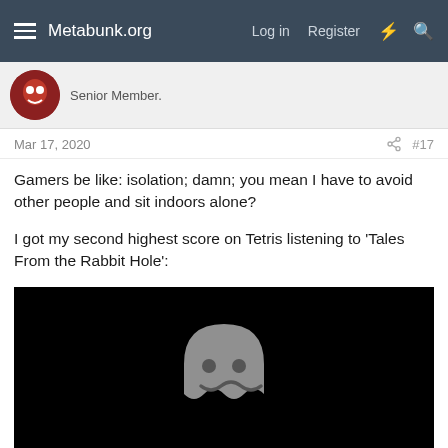Metabunk.org   Log in   Register
Senior Member.
Mar 17, 2020   #17
Gamers be like: isolation; damn; you mean I have to avoid other people and sit indoors alone?
I got my second highest score on Tetris listening to 'Tales From the Rabbit Hole':
[Figure (screenshot): Black video embed thumbnail with a gray ghost/phantom icon (Pac-Man style ghost) centered on a black background.]